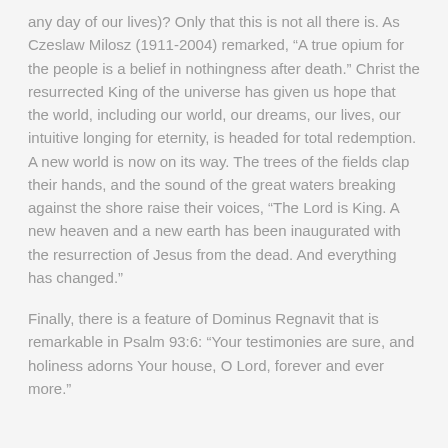any day of our lives)? Only that this is not all there is. As Czeslaw Milosz (1911-2004) remarked, “A true opium for the people is a belief in nothingness after death.” Christ the resurrected King of the universe has given us hope that the world, including our world, our dreams, our lives, our intuitive longing for eternity, is headed for total redemption. A new world is now on its way. The trees of the fields clap their hands, and the sound of the great waters breaking against the shore raise their voices, “The Lord is King. A new heaven and a new earth has been inaugurated with the resurrection of Jesus from the dead. And everything has changed.”
Finally, there is a feature of Dominus Regnavit that is remarkable in Psalm 93:6: “Your testimonies are sure, and holiness adorns Your house, O Lord, forever and ever more.”